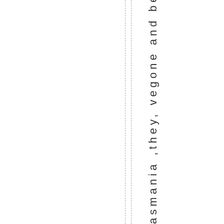asmania ,they, vegone and become